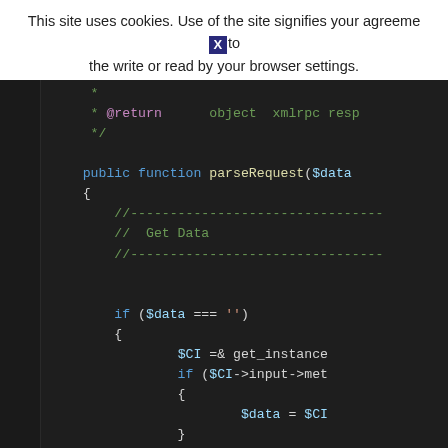This site uses cookies. Use of the site signifies your agreement to the write or read by your browser settings.
[Figure (screenshot): Code editor screenshot showing PHP code with dark theme. Displays a parseRequest function with comments and conditional logic involving $data and $CI variables.]